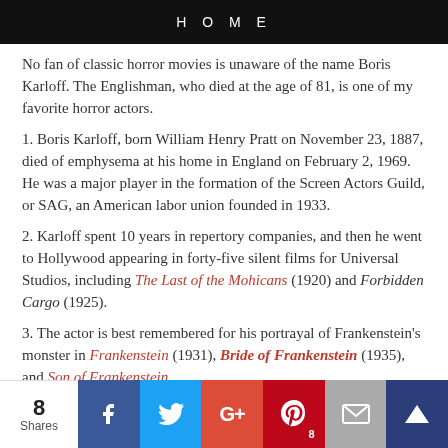HOME
No fan of classic horror movies is unaware of the name Boris Karloff. The Englishman, who died at the age of 81, is one of my favorite horror actors.
1. Boris Karloff, born William Henry Pratt on November 23, 1887, died of emphysema at his home in England on February 2, 1969. He was a major player in the formation of the Screen Actors Guild, or SAG, an American labor union founded in 1933.
2. Karloff spent 10 years in repertory companies, and then he went to Hollywood appearing in forty-five silent films for Universal Studios, including The Last of the Mohicans (1920) and Forbidden Cargo (1925).
3. The actor is best remembered for his portrayal of Frankenstein's monster in Frankenstein (1931), Bride of Frankenstein (1935), and Son of Frankenstein